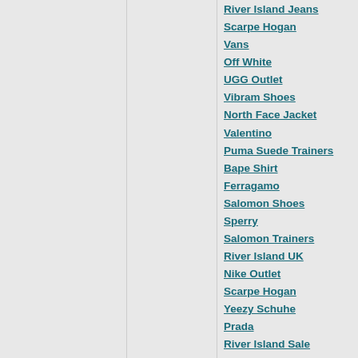River Island Jeans
Scarpe Hogan
Vans
Off White
UGG Outlet
Vibram Shoes
North Face Jacket
Valentino
Puma Suede Trainers
Bape Shirt
Ferragamo
Salomon Shoes
Sperry
Salomon Trainers
River Island UK
Nike Outlet
Scarpe Hogan
Yeezy Schuhe
Prada
River Island Sale
Reebok Sneakers
Pandora Rings
Prada
Yeezy Boost 350 V2
Puma Rihanna
Nike Chaussure
Adidas Jacke
Scarpe Vans
Nike
Puma Sneaker
UGG
Adidas Yeezy
Superdry Outlet
Converse Blanche
Ultra Boost Uncaged
Pandora Outlet
Under Armour Tracksuit
Tory Burch Purse